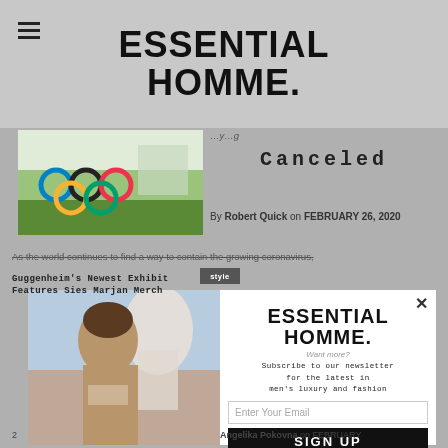ESSENTIAL HOMME.
[Figure (photo): Olympic rings sculpture outdoors on green lawn]
Canceled
By Robert Quick on FEBRUARY 26, 2020
As the world continues to find a way to contain the growing coronavirus,
[Figure (photo): Popup modal showing Essential Homme logo with fashion model photo on left, newsletter signup on right]
ESSENTIAL HOMME.
Want more?
Subscribe to our newsletter for the latest in men's luxury and fashion
Guggenheim's Newest Exhibit Features Sies Marjan Merch
Angelika Pokovna on FEBRUARY
2